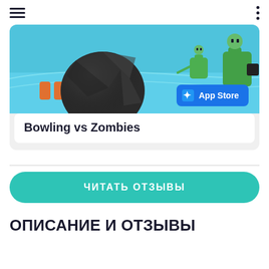[Figure (screenshot): Game promotional screenshot for Bowling vs Zombies showing a dark bowling ball on a lane with green zombie characters on a blue background, and an App Store badge overlay]
Bowling vs Zombies
ЧИТАТЬ ОТЗЫВЫ
ОПИСАНИЕ И ОТЗЫВЫ